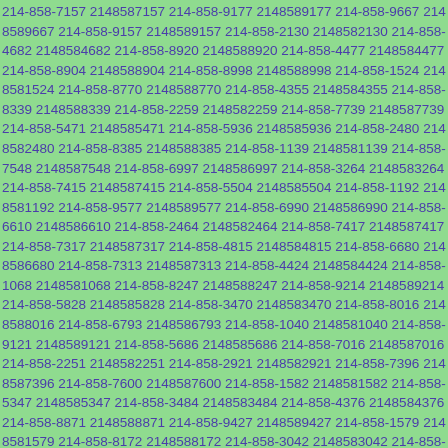214-858-7157 2148587157 214-858-9177 2148589177 214-858-9667 2148589667 214-858-9157 2148589157 214-858-2130 2148582130 214-858-4682 2148584682 214-858-8920 2148588920 214-858-4477 2148584477 214-858-8904 2148588904 214-858-8998 2148588998 214-858-1524 2148581524 214-858-8770 2148588770 214-858-4355 2148584355 214-858-8339 2148588339 214-858-2259 2148582259 214-858-7739 2148587739 214-858-5471 2148585471 214-858-5936 2148585936 214-858-2480 2148582480 214-858-8385 2148588385 214-858-1139 2148581139 214-858-7548 2148587548 214-858-6997 2148586997 214-858-3264 2148583264 214-858-7415 2148587415 214-858-5504 2148585504 214-858-1192 2148581192 214-858-9577 2148589577 214-858-6990 2148586990 214-858-6610 2148586610 214-858-2464 2148582464 214-858-7417 2148587417 214-858-7317 2148587317 214-858-4815 2148584815 214-858-6680 2148586680 214-858-7313 2148587313 214-858-4424 2148584424 214-858-1068 2148581068 214-858-8247 2148588247 214-858-9214 2148589214 214-858-5828 2148585828 214-858-3470 2148583470 214-858-8016 2148588016 214-858-6793 2148586793 214-858-1040 2148581040 214-858-9121 2148589121 214-858-5686 2148585686 214-858-7016 2148587016 214-858-2251 2148582251 214-858-2921 2148582921 214-858-7396 2148587396 214-858-7600 2148587600 214-858-1582 2148581582 214-858-5347 2148585347 214-858-3484 2148583484 214-858-4376 2148584376 214-858-8871 2148588871 214-858-9427 2148589427 214-858-1579 2148581579 214-858-8172 2148588172 214-858-3042 2148583042 214-858-4690 2148584690 214-858-2468 2148582468 214-858-1538 2148581538 214-858-5046 2148585046